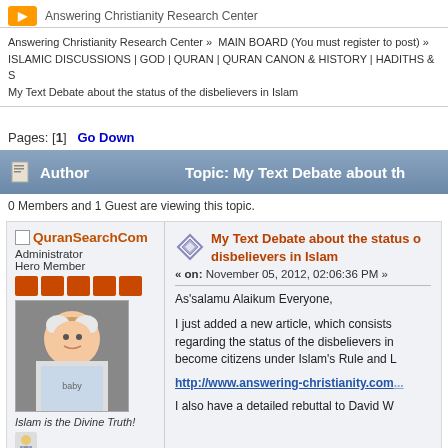Answering Christianity Research Center
Answering Christianity Research Center » MAIN BOARD (You must register to post) » ISLAMIC DISCUSSIONS | GOD | QURAN | QURAN CANON & HISTORY | HADITHS & S
My Text Debate about the status of the disbelievers in Islam
Pages: [1]   Go Down
Author    Topic: My Text Debate about the
0 Members and 1 Guest are viewing this topic.
QuranSearchCom
Administrator
Hero Member
Islam is the Divine Truth!
My Text Debate about the status of the disbelievers in Islam
« on: November 05, 2012, 02:06:36 PM »
As'salamu Alaikum Everyone,
I just added a new article, which consists regarding the status of the disbelievers in become citizens under Islam's Rule and L
http://www.answering-christianity.com...
I also have a detailed rebuttal to David W